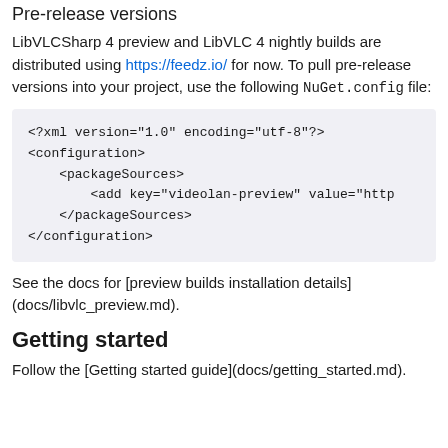Pre-release versions
LibVLCSharp 4 preview and LibVLC 4 nightly builds are distributed using https://feedz.io/ for now. To pull pre-release versions into your project, use the following NuGet.config file:
<?xml version="1.0" encoding="utf-8"?>
<configuration>
    <packageSources>
        <add key="videolan-preview" value="http...
    </packageSources>
</configuration>
See the docs for [preview builds installation details](docs/libvlc_preview.md).
Getting started
Follow the [Getting started guide](docs/getting_started.md).